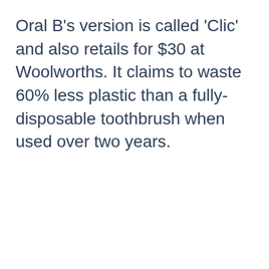Oral B's version is called 'Clic' and also retails for $30 at Woolworths. It claims to waste 60% less plastic than a fully-disposable toothbrush when used over two years.